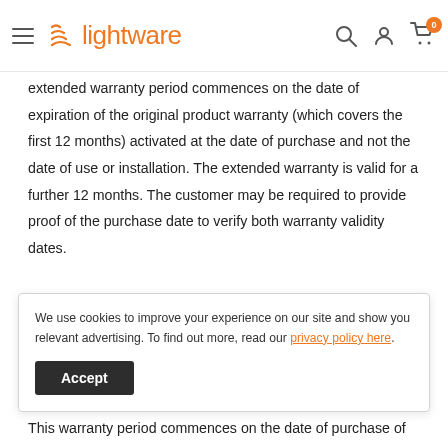lightware (logo/navigation header)
extended warranty period commences on the date of expiration of the original product warranty (which covers the first 12 months) activated at the date of purchase and not the date of use or installation. The extended warranty is valid for a further 12 months. The customer may be required to provide proof of the purchase date to verify both warranty validity dates.
See the below section on warranty and repairs to see what is/isn't covered under the extended limited warranty on all
We use cookies to improve your experience on our site and show you relevant advertising. To find out more, read our privacy policy here.
This warranty period commences on the date of purchase of